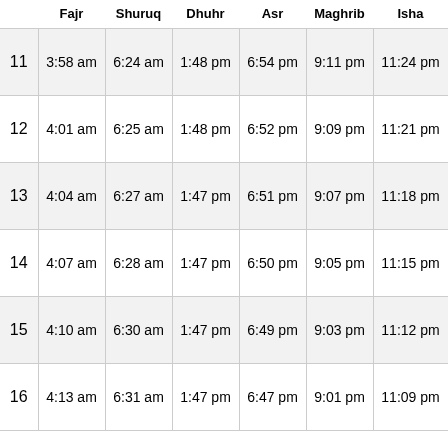|  | Fajr | Shuruq | Dhuhr | Asr | Maghrib | Isha |
| --- | --- | --- | --- | --- | --- | --- |
| 11 | 3:58 am | 6:24 am | 1:48 pm | 6:54 pm | 9:11 pm | 11:24 pm |
| 12 | 4:01 am | 6:25 am | 1:48 pm | 6:52 pm | 9:09 pm | 11:21 pm |
| 13 | 4:04 am | 6:27 am | 1:47 pm | 6:51 pm | 9:07 pm | 11:18 pm |
| 14 | 4:07 am | 6:28 am | 1:47 pm | 6:50 pm | 9:05 pm | 11:15 pm |
| 15 | 4:10 am | 6:30 am | 1:47 pm | 6:49 pm | 9:03 pm | 11:12 pm |
| 16 | 4:13 am | 6:31 am | 1:47 pm | 6:47 pm | 9:01 pm | 11:09 pm |